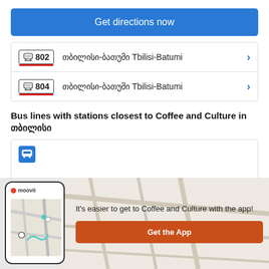Get directions now
802 თბილისი-ბათუმი Tbilisi-Batumi
804 თბილისი-ბათუმი Tbilisi-Batumi
Bus lines with stations closest to Coffee and Culture in თბილისი
[Figure (screenshot): Bus icon in blue square]
It's easier to get to Coffee and Culture with the app!
Get the App